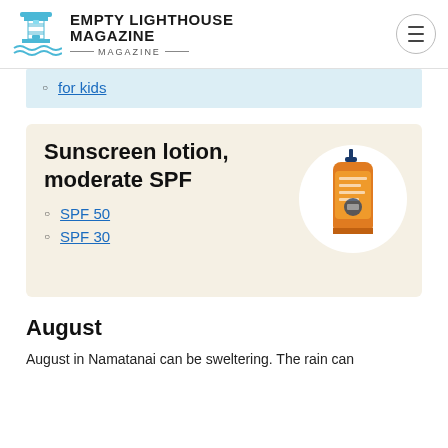Empty Lighthouse Magazine
for kids
Sunscreen lotion, moderate SPF
[Figure (photo): Orange sunscreen bottle with blue pump cap on white circle background]
SPF 50
SPF 30
August
August in Namatanai can be sweltering. The rain can